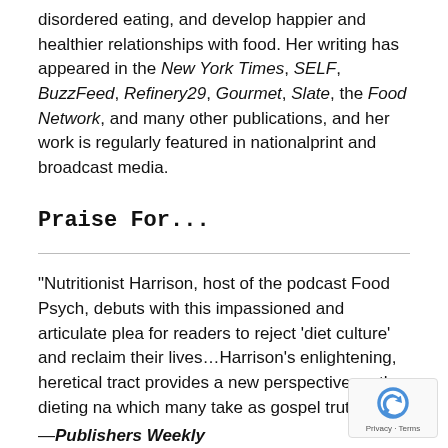disordered eating, and develop happier and healthier relationships with food. Her writing has appeared in the New York Times, SELF, BuzzFeed, Refinery29, Gourmet, Slate, the Food Network, and many other publications, and her work is regularly featured in nationalprint and broadcast media.
Praise For...
"Nutritionist Harrison, host of the podcast Food Psych, debuts with this impassioned and articulate plea for readers to reject 'diet culture' and reclaim their lives…Harrison's enlightening, heretical tract provides a new perspective on the dieting na which many take as gospel truth."
—Publishers Weekly